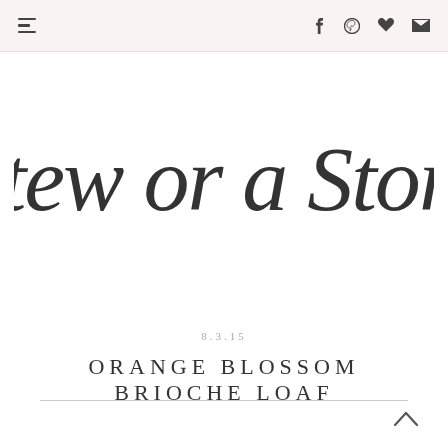Stew or a Story — navigation header with menu, facebook, pinterest, heart, email icons
[Figure (logo): Stew or a Story blog logo in decorative cursive/calligraphy script, dark gray on white background]
8.3.15
ORANGE BLOSSOM BRIOCHE LOAF